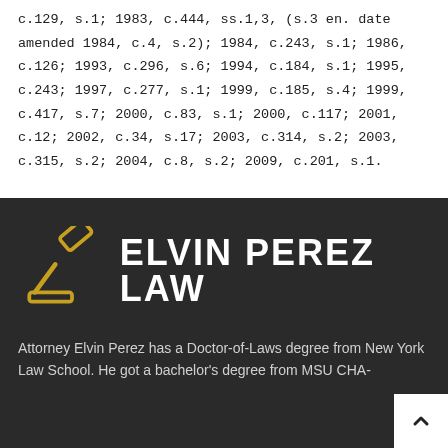c.129, s.1; 1983, c.444, ss.1,3, (s.3 en. date amended 1984, c.4, s.2); 1984, c.243, s.1; 1986, c.126; 1993, c.296, s.6; 1994, c.184, s.1; 1995, c.243; 1997, c.277, s.1; 1999, c.185, s.4; 1999, c.417, s.7; 2000, c.83, s.1; 2000, c.117; 2001, c.12; 2002, c.34, s.17; 2003, c.314, s.2; 2003, c.315, s.2; 2004, c.8, s.2; 2009, c.201, s.1.
[Figure (logo): Elvin Perez Law logo with a golden gavel icon on the left and bold white text 'ELVIN PEREZ LAW' on the right, on a dark background.]
Attorney Elvin Perez has a Doctor-of-Laws degree from New York Law School. He got a bachelor's degree from MSU CHA-